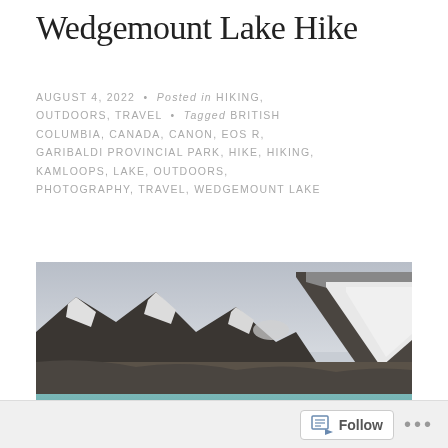Wedgemount Lake Hike
AUGUST 4, 2022 • Posted in HIKING, OUTDOORS, TRAVEL • Tagged BRITISH COLUMBIA, CANADA, CANON, EOS R, GARIBALDI PROVINCIAL PARK, HIKE, HIKING, KAMLOOPS, LAKE, OUTDOORS, PHOTOGRAPHY, TRAVEL, WEDGEMOUNT LAKE
[Figure (photo): Panoramic photograph of Wedgemount Lake with turquoise glacial water in the foreground and snow-capped rocky mountains under an overcast sky in the background.]
Follow ...